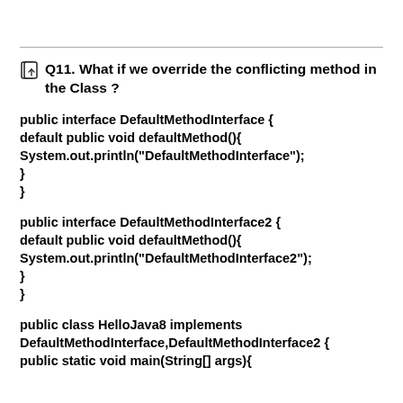Q11. What if we override the conflicting method in the Class ?
public interface DefaultMethodInterface {
default public void defaultMethod(){
System.out.println("DefaultMethodInterface");
}
}
public interface DefaultMethodInterface2 {
default public void defaultMethod(){
System.out.println("DefaultMethodInterface2");
}
}
public class HelloJava8 implements DefaultMethodInterface,DefaultMethodInterface2 {
public static void main(String[] args){